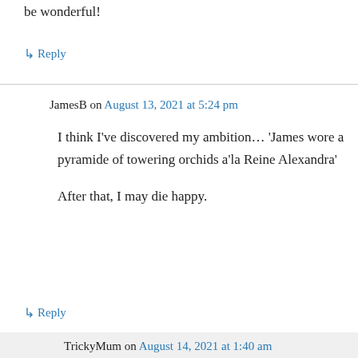be wonderful!
↳ Reply
JamesB on August 13, 2021 at 5:24 pm
I think I've discovered my ambition… 'James wore a pyramide of towering orchids a'la Reine Alexandra'

After that, I may die happy.
↳ Reply
TrickyMum on August 14, 2021 at 1:40 am
Will you wear it with a ruffled boa too?